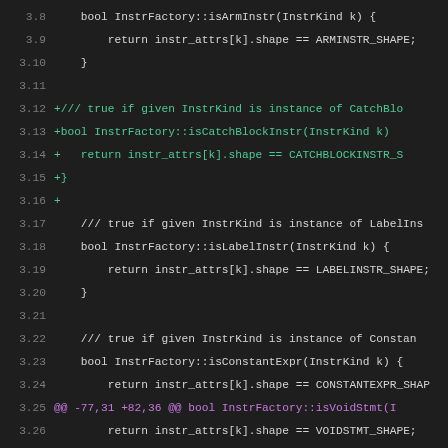[Figure (screenshot): Source code diff view showing C++ code for InstrFactory methods including isArmInstr, isCatchBlockInstr, isLabelInstr, isConstantExpr, isVoidStmt, isNaryStmt0, isSafepointInstr, and DebugIn, displayed in a dark-themed code editor with green added lines and purple hunk markers, line numbers 3.8 through 3.39]